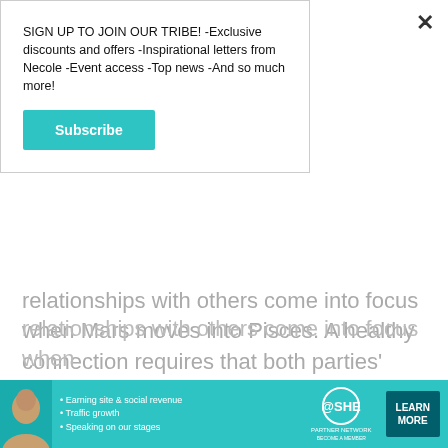SIGN UP TO JOIN OUR TRIBE! -Exclusive discounts and offers -Inspirational letters from Necole -Event access -Top news -And so much more!
Subscribe
relationships with others come into focus when Mars moves into Pisces. A healthy connection requires that both parties' boundaries be honored.
It's time to get into the details when Jupiter goes retro on the 14th. If you want to have a baby, this is the perfect time to strategize your fertility plan.This is also a supportive time to revisit an old project or idea that could use a little more TLC. Towards the
[Figure (infographic): SHE Media Partner Network advertisement banner with woman photo, bullet points about Earning site & social revenue, Traffic growth, Speaking on our stages, SHE logo, and LEARN MORE button]